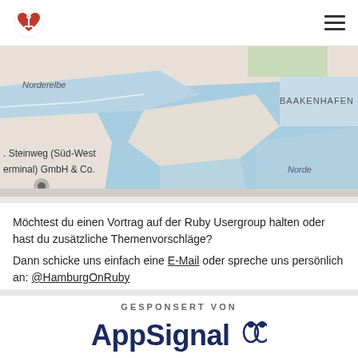[Figure (screenshot): Website navigation bar with anchor-heart logo on the left and hamburger menu icon on the right]
[Figure (map): Google Maps screenshot showing a waterway area near Hamburg with labels 'Norderelbe', 'BAAKENHAFEN', 'Norde...', and a business name 'Steinweg (Süd-West erminal) GmbH & Co.']
Möchtest du einen Vortrag auf der Ruby Usergroup halten oder hast du zusätzliche Themenvorschläge?
Dann schicke uns einfach eine E-Mail oder spreche uns persönlich an: @HamburgOnRuby
GESPONSERT VON
[Figure (logo): AppSignal logo in dark navy blue with owl icon]